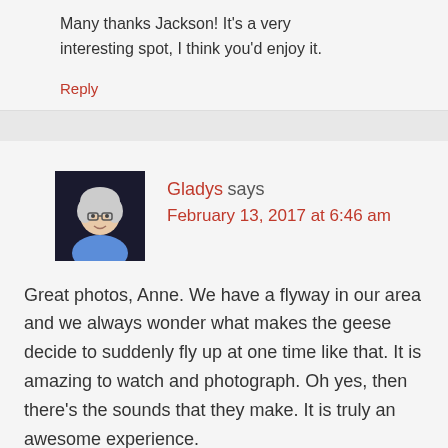Many thanks Jackson! It's a very interesting spot, I think you'd enjoy it.
Reply
Gladys says February 13, 2017 at 6:46 am
Great photos, Anne. We have a flyway in our area and we always wonder what makes the geese decide to suddenly fly up at one time like that. It is amazing to watch and photograph. Oh yes, then there's the sounds that they make. It is truly an awesome experience.